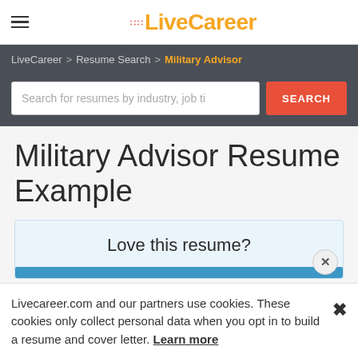LiveCareer
LiveCareer > Resume Search > Military Advisor
Search for resumes by industry, job ti   SEARCH
Military Advisor Resume Example
Love this resume?
Livecareer.com and our partners use cookies. These cookies only collect personal data when you opt in to build a resume and cover letter. Learn more